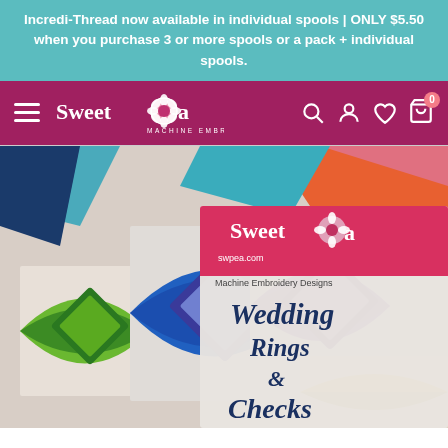Incredi-Thread now available in individual spools | ONLY $5.50 when you purchase 3 or more spools or a pack + individual spools.
[Figure (screenshot): Sweet Pea Machine Embroidery website navigation bar with hamburger menu, Sweet Pea logo, and icons for search, account, wishlist, and cart (showing 0 items).]
[Figure (photo): Product photo showing a quilted pattern with colorful geometric Wedding Rings design in blue, green, purple, and yellow. Overlaid with Sweet Pea branding and text 'Wedding Rings & Checks Quilt'.]